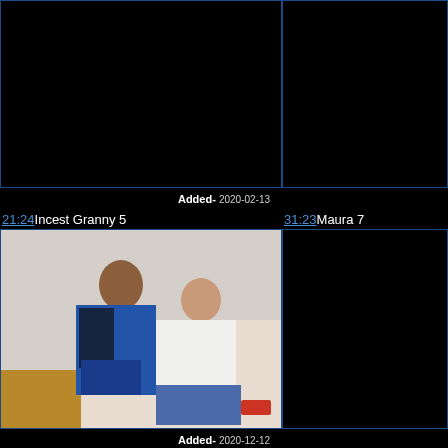[Figure (photo): Black thumbnail placeholder, top-left]
[Figure (photo): Black thumbnail placeholder, top-right]
Added- 2020-02-13
21:24 Incest Granny 5
31:23 Maura 7
[Figure (photo): Photo of two people on a couch, bottom-left thumbnail]
[Figure (photo): Black thumbnail placeholder, bottom-right]
Added- 2020-12-12